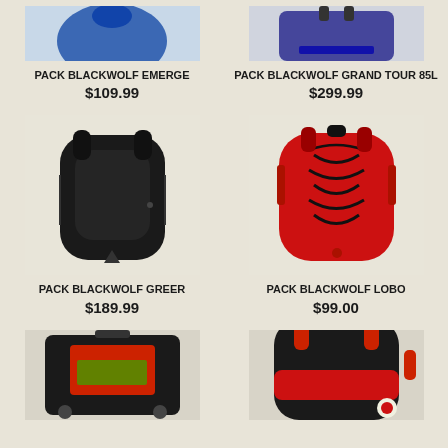[Figure (photo): Cropped top of blue PACK BLACKWOLF EMERGE backpack]
PACK BLACKWOLF EMERGE
$109.99
[Figure (photo): Cropped top of PACK BLACKWOLF GRAND TOUR 85L rolling luggage]
PACK BLACKWOLF GRAND TOUR 85L
$299.99
[Figure (photo): Black PACK BLACKWOLF GREER backpack]
PACK BLACKWOLF GREER
$189.99
[Figure (photo): Red PACK BLACKWOLF LOBO backpack]
PACK BLACKWOLF LOBO
$99.00
[Figure (photo): Cropped bottom of black and red rolling duffel bag]
[Figure (photo): Cropped bottom of black and red backpack]